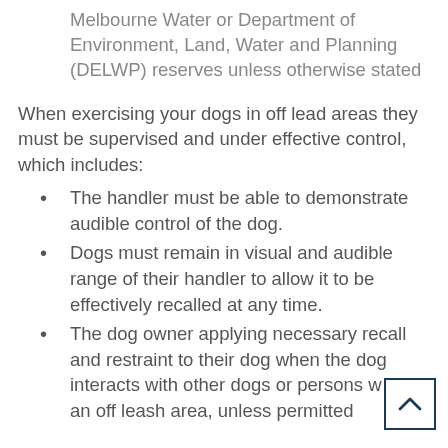Melbourne Water or Department of Environment, Land, Water and Planning (DELWP) reserves unless otherwise stated
When exercising your dogs in off lead areas they must be supervised and under effective control, which includes:
The handler must be able to demonstrate audible control of the dog.
Dogs must remain in visual and audible range of their handler to allow it to be effectively recalled at any time.
The dog owner applying necessary recall and restraint to their dog when the dog interacts with other dogs or persons within an off leash area, unless permitted otherwise by the owner of the other dog